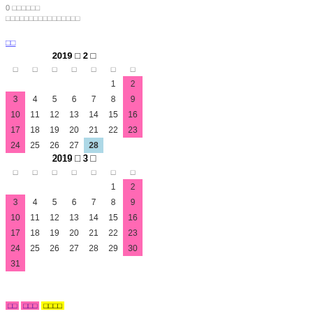0 □□□□□□
□□□□□□□□□□□□□□□□
□□
| □ | □ | □ | □ | □ | □ | □ |
| --- | --- | --- | --- | --- | --- | --- |
|  |  |  |  |  | 1 | 2 |
| 3 | 4 | 5 | 6 | 7 | 8 | 9 |
| 10 | 11 | 12 | 13 | 14 | 15 | 16 |
| 17 | 18 | 19 | 20 | 21 | 22 | 23 |
| 24 | 25 | 26 | 27 | 28 |  |  |
| □ | □ | □ | □ | □ | □ | □ |
| --- | --- | --- | --- | --- | --- | --- |
|  |  |  |  |  | 1 | 2 |
| 3 | 4 | 5 | 6 | 7 | 8 | 9 |
| 10 | 11 | 12 | 13 | 14 | 15 | 16 |
| 17 | 18 | 19 | 20 | 21 | 22 | 23 |
| 24 | 25 | 26 | 27 | 28 | 29 | 30 |
| 31 |  |  |  |  |  |  |
□□ □□□ □□□□